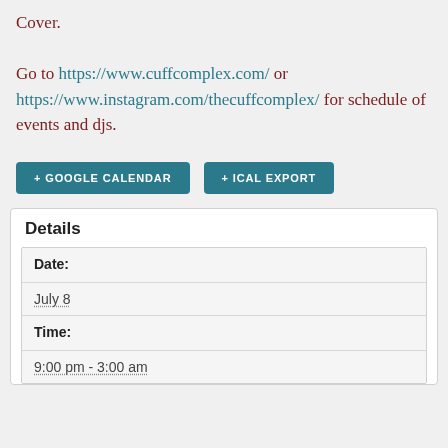Cover.

Go to https://www.cuffcomplex.com/  or https://www.instagram.com/thecuffcomplex/ for schedule of events and djs.
+ GOOGLE CALENDAR  + ICAL EXPORT
Details
| Date: | July 8 |
| Time: | 9:00 pm - 3:00 am |